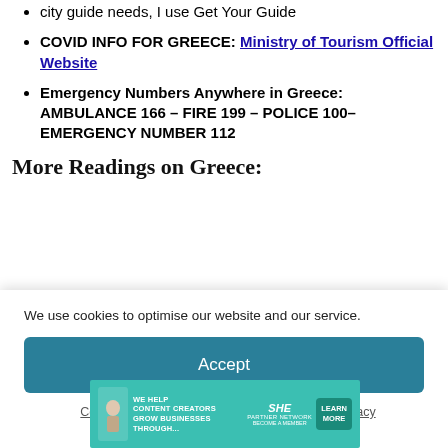city guide needs, I use Get Your Guide
COVID INFO FOR GREECE: Ministry of Tourism Official Website
Emergency Numbers Anywhere in Greece: AMBULANCE 166 – FIRE 199 – POLICE 100– EMERGENCY NUMBER 112
More Readings on Greece:
We use cookies to optimise our website and our service.
Accept
Cookie Policy   Privacy Policy/Disclosure   Privacy Policy/Disclosure
[Figure (photo): Partially visible image, likely a travel/scenery photo related to Greece content]
Kythera
MORE…
[Figure (infographic): Advertisement banner: SHE Partner Network – 'We help content creators grow businesses through... Become a member' with Learn More button]